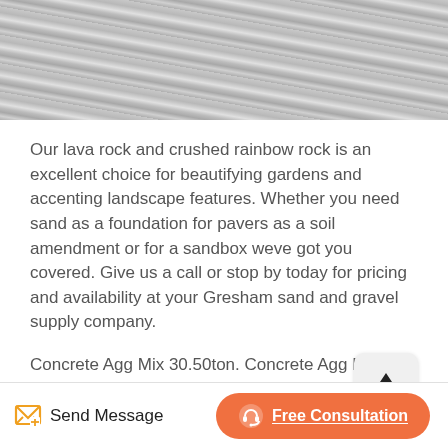[Figure (photo): Grayscale photo showing layered rock or stone texture, cropped at top]
Our lava rock and crushed rainbow rock is an excellent choice for beautifying gardens and accenting landscape features. Whether you need sand as a foundation for pavers as a soil amendment or for a sandbox weve got you covered. Give us a call or stop by today for pricing and availability at your Gresham sand and gravel supply company.
Concrete Agg Mix 30.50ton. Concrete Agg Mix is a pre blended material where in which all the homeowner needs to add is Portland cement and water. Our mix is blended at 6040 ratio 60 sand and 40 rock.
Send Message   Free Consultation